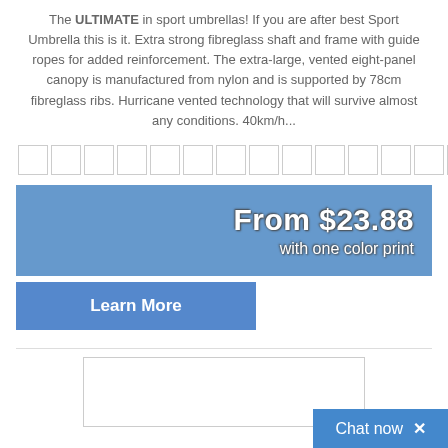The ULTIMATE in sport umbrellas! If you are after best Sport Umbrella this is it. Extra strong fibreglass shaft and frame with guide ropes for added reinforcement. The extra-large, vented eight-panel canopy is manufactured from nylon and is supported by 78cm fibreglass ribs. Hurricane vented technology that will survive almost any conditions. 40km/h...
[Figure (other): A row of 16 blank color swatch squares with light grey borders]
From $23.88
with one color print
Learn More
[Figure (other): A white rectangular box outline, partially visible at the bottom of the page]
Chat now